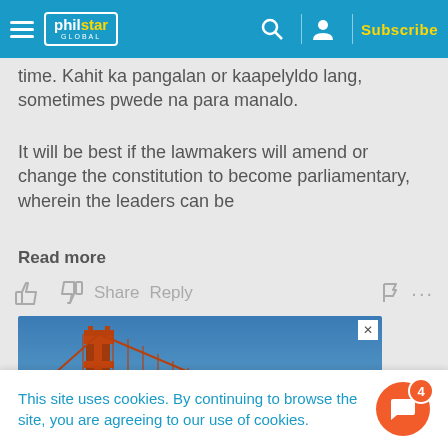philstar GLOBAL — Subscribe
time. Kahit ka pangalan or kaapelyldo lang, sometimes pwede na para manalo.
It will be best if the lawmakers will amend or change the constitution to become parliamentary, wherein the leaders can be
Read more
[Figure (screenshot): Comment action bar with thumbs up, thumbs down, Share, Reply, flag, and more options icons]
[Figure (photo): Advertisement image showing the Golden Gate Bridge tower against a blue sky]
This site uses cookies. By continuing to browse the site, you are agreeing to our use of cookies.